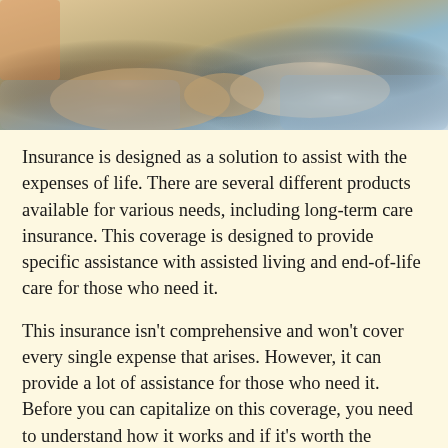[Figure (photo): Two people sitting and holding hands, suggesting a caregiving or supportive interaction. One person appears to be wearing grey clothing.]
Insurance is designed as a solution to assist with the expenses of life. There are several different products available for various needs, including long-term care insurance. This coverage is designed to provide specific assistance with assisted living and end-of-life care for those who need it.
This insurance isn't comprehensive and won't cover every single expense that arises. However, it can provide a lot of assistance for those who need it. Before you can capitalize on this coverage, you need to understand how it works and if it's worth the money.
First, let's get that out of the way: yes, insurance is always worth the money when you buy the right policy.